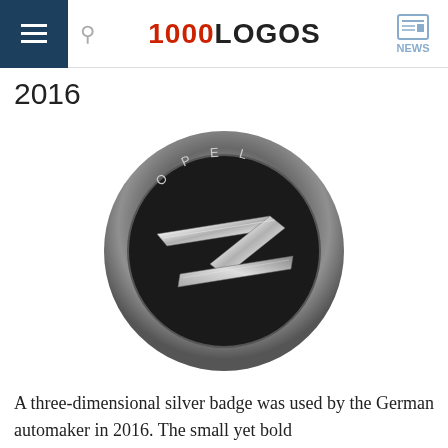1000LOGOS NEWS
2016
[Figure (logo): Opel 2016 logo — a three-dimensional silver circular badge with the text OPEL along the top inner arc and a stylized lightning bolt / Z-arrow motif crossing through the center of the circle, rendered in chrome/silver tones with 3D shading.]
A three-dimensional silver badge was used by the German automaker in 2016. The small yet bold